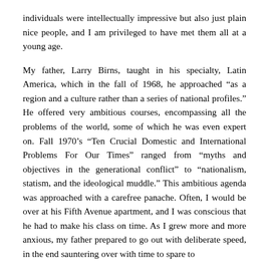individuals were intellectually impressive but also just plain nice people, and I am privileged to have met them all at a young age.
My father, Larry Birns, taught in his specialty, Latin America, which in the fall of 1968, he approached “as a region and a culture rather than a series of national profiles.” He offered very ambitious courses, encompassing all the problems of the world, some of which he was even expert on. Fall 1970’s “Ten Crucial Domestic and International Problems For Our Times” ranged from “myths and objectives in the generational conflict” to “nationalism, statism, and the ideological muddle.” This ambitious agenda was approached with a carefree panache. Often, I would be over at his Fifth Avenue apartment, and I was conscious that he had to make his class on time. As I grew more and more anxious, my father prepared to go out with deliberate speed, in the end sauntering over with time to spare to